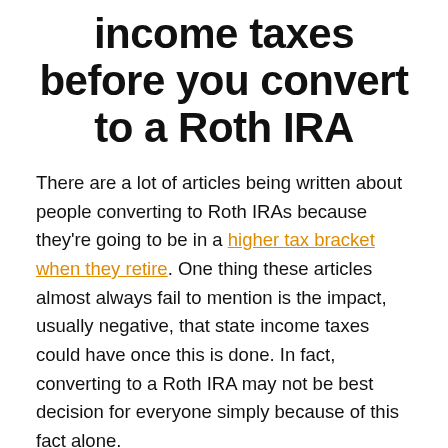income taxes before you convert to a Roth IRA
There are a lot of articles being written about people converting to Roth IRAs because they're going to be in a higher tax bracket when they retire. One thing these articles almost always fail to mention is the impact, usually negative, that state income taxes could have once this is done. In fact, converting to a Roth IRA may not be best decision for everyone simply because of this fact alone.
Simply put, when you convert a 401(k) plan(or a traditional IRA) to a Roth IRA, you're making the decision to pay income taxes today so that you'll be able to make income tax-free in the future. If you're fairly confident that you'll be